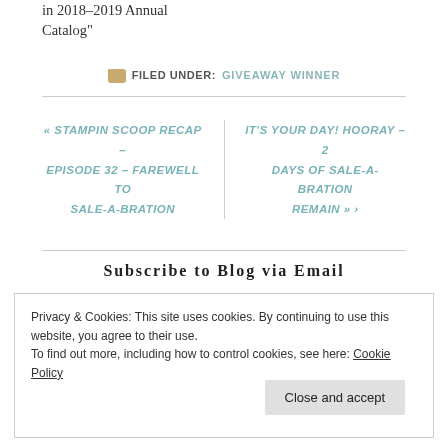in 2018-2019 Annual Catalog"
FILED UNDER: GIVEAWAY WINNER
« STAMPIN SCOOP RECAP – EPISODE 32 – FAREWELL TO SALE-A-BRATION
IT'S YOUR DAY! HOORAY – 2 DAYS OF SALE-A-BRATION REMAIN »
Subscribe to Blog via Email
Privacy & Cookies: This site uses cookies. By continuing to use this website, you agree to their use. To find out more, including how to control cookies, see here: Cookie Policy